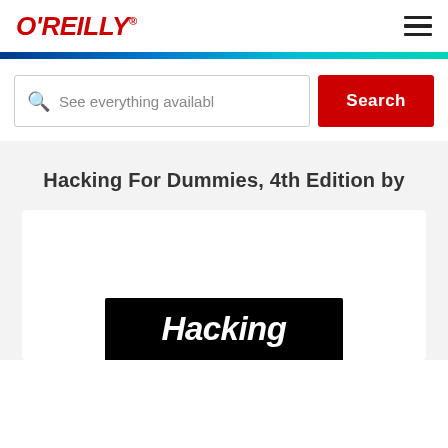O'REILLY®
See everything availabl
Search
Hacking For Dummies, 4th Edition by
[Figure (photo): Book cover of 'Hacking For Dummies, 4th Edition' showing the title 'Hacking' in bold italic white text on a black background strip]